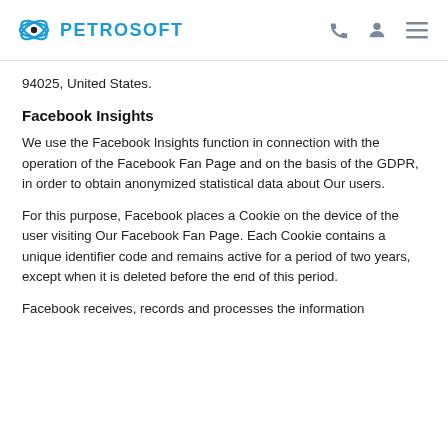PETROSOFT
94025, United States.
Facebook Insights
We use the Facebook Insights function in connection with the operation of the Facebook Fan Page and on the basis of the GDPR, in order to obtain anonymized statistical data about Our users.
For this purpose, Facebook places a Cookie on the device of the user visiting Our Facebook Fan Page. Each Cookie contains a unique identifier code and remains active for a period of two years, except when it is deleted before the end of this period.
Facebook receives, records and processes the information